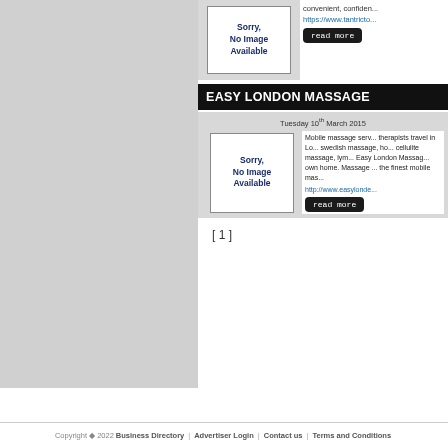[Figure (other): Sorry, No Image Available placeholder image for first listing]
convenient, confiden...
https://www.tantricto...
read more
EASY LONDON MASSAGE
Tuesday 10th March 2015
[Figure (other): Sorry, No Image Available placeholder image for Easy London Massage listing]
Mobile massage serv... therapists travel in Lo... swedish massage, ho... cellulite massage, lym... Easy London Massag... own home. Massage ... the finest mobile mas...
http://www.easylonde...
read more
[ 1 ]
Copyright © 2022 Business Directory | Advertiser Login | Contact us | Terms and Conditions